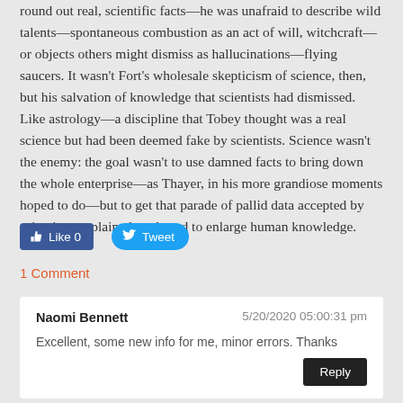round out real, scientific facts—he was unafraid to describe wild talents—spontaneous combustion as an act of will, witchcraft—or objects others might dismiss as hallucinations—flying saucers. It wasn't Fort's wholesale skepticism of science, then, but his salvation of knowledge that scientists had dismissed. Like astrology—a discipline that Tobey thought was a real science but had been deemed fake by scientists. Science wasn't the enemy: the goal wasn't to use damned facts to bring down the whole enterprise—as Thayer, in his more grandiose moments hoped to do—but to get that parade of pallid data accepted by scientists, explained, and used to enlarge human knowledge.
[Figure (screenshot): Facebook Like button (blue, rounded rectangle) showing 'Like 0' and Twitter Tweet button (blue, rounded pill) with bird icon]
1 Comment
Naomi Bennett
5/20/2020 05:00:31 pm
Excellent, some new info for me, minor errors. Thanks